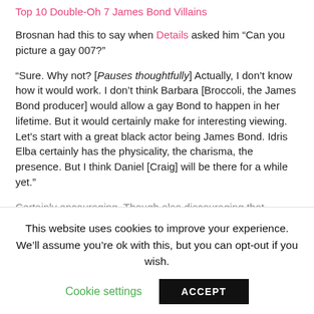Top 10 Double-Oh 7 James Bond Villains
Brosnan had this to say when Details asked him “Can you picture a gay 007?”
“Sure. Why not? [Pauses thoughtfully] Actually, I don’t know how it would work. I don’t think Barbara [Broccoli, the James Bond producer] would allow a gay Bond to happen in her lifetime. But it would certainly make for interesting viewing. Let’s start with a great black actor being James Bond. Idris Elba certainly has the physicality, the charisma, the presence. But I think Daniel [Craig] will be there for a while yet.”
Certainly encouraging. Though also discouraging that Barbara
This website uses cookies to improve your experience. We’ll assume you’re ok with this, but you can opt-out if you wish.
Cookie settings | ACCEPT